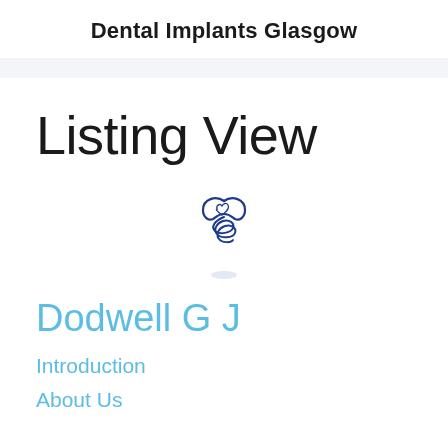Dental Implants Glasgow
Listing View
[Figure (logo): Blue dental implant logo — a stylized tooth/heart shape at top with a screw spiral below, in dark blue, with a light shadow beneath]
Dodwell G J
Introduction
About Us